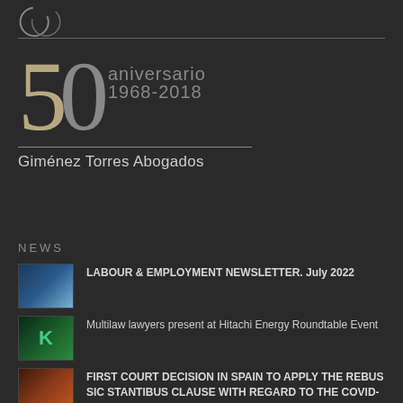[Figure (logo): Giménez Torres Abogados logo — partial circular grey logo at top]
[Figure (illustration): 50 aniversario 1968-2018 — large stylized '50' with tan '5' and grey '0', text 'aniversario 1968-2018' beside it, followed by a horizontal rule and 'Giménez Torres Abogados']
NEWS
LABOUR & EMPLOYMENT NEWSLETTER. July 2022
Multilaw lawyers present at Hitachi Energy Roundtable Event
FIRST COURT DECISION IN SPAIN TO APPLY THE REBUS SIC STANTIBUS CLAUSE WITH REGARD TO THE COVID-19 PANDEMIC
ABOUT THE LIFTING OF THE SUSPENSION OF